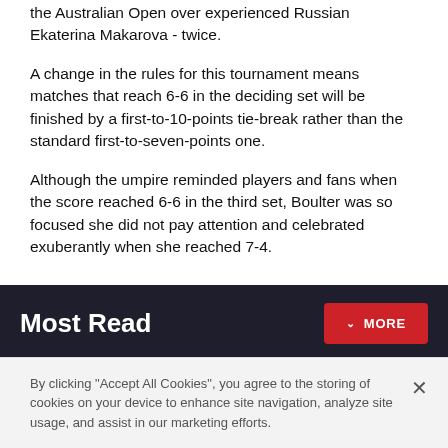the Australian Open over experienced Russian Ekaterina Makarova - twice.
A change in the rules for this tournament means matches that reach 6-6 in the deciding set will be finished by a first-to-10-points tie-break rather than the standard first-to-seven-points one.
Although the umpire reminded players and fans when the score reached 6-6 in the third set, Boulter was so focused she did not pay attention and celebrated exuberantly when she reached 7-4.
Most Read
1 Coldplay fans stranded by cancellations despite gig being rescheduled due to train strikes
By clicking "Accept All Cookies", you agree to the storing of cookies on your device to enhance site navigation, analyze site usage, and assist in our marketing efforts.